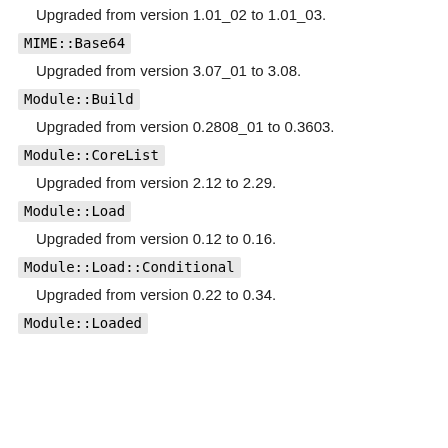Upgraded from version 1.01_02 to 1.01_03.
MIME::Base64
Upgraded from version 3.07_01 to 3.08.
Module::Build
Upgraded from version 0.2808_01 to 0.3603.
Module::CoreList
Upgraded from version 2.12 to 2.29.
Module::Load
Upgraded from version 0.12 to 0.16.
Module::Load::Conditional
Upgraded from version 0.22 to 0.34.
Module::Loaded